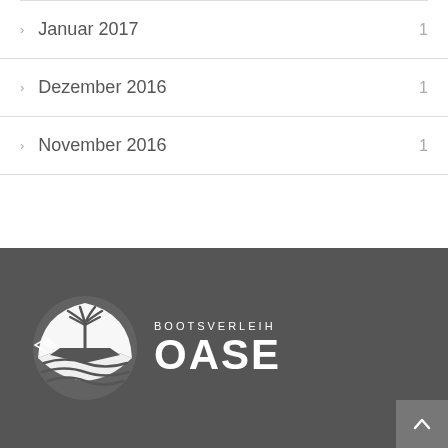Januar 2017  1
Dezember 2016  1
November 2016  1
[Figure (logo): Bootsverleih Oase logo — white boat/palm tree circular emblem with text BOOTSVERLEIH OASE on dark grey background]